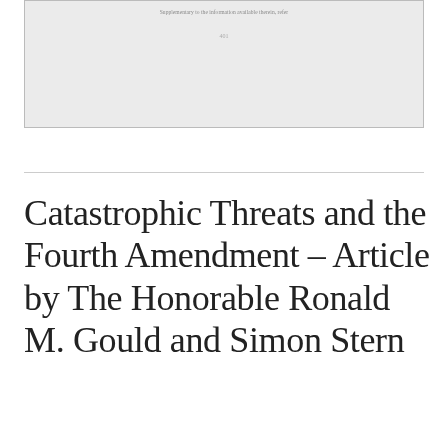[Figure (other): Gray box representing a clipped/previous page content area with a small caption text and page number 401]
401
Catastrophic Threats and the Fourth Amendment – Article by The Honorable Ronald M. Gould and Simon Stern